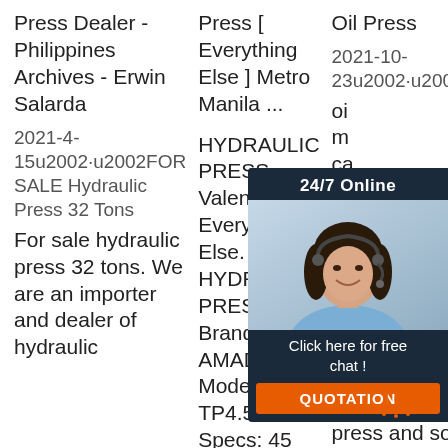Press Dealer - Philippines Archives - Erwin Salarda
2021-4-15u2002·u2002FOR SALE Hydraulic Press 32 Tons For sale hydraulic press 32 tons. We are an importer and dealer of hydraulic
Press [ Everything Else ] Metro Manila ...
HYDRAULIC PRESS. Valenzuela Everything Else. HYDRAULIC PRESS Brand: AMADA Model: TP4.5X Specs: 45 tons, 5.5 Kw, 7.5 Hp, 200V _____ Everything
Oil Press
2021-10-23u2002·u2002This oil press machine can serve excellent performance providing press machine, palm oil press machine, hydraulic oil press and so This kind
[Figure (photo): Chat widget overlay showing a woman with headset, '24/7 Online' label, 'Click here for free chat!' text, and an orange QUOTATION button on dark navy background]